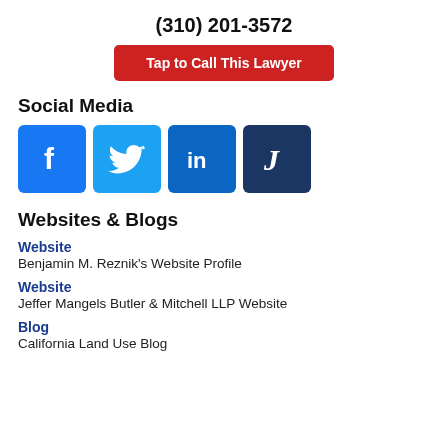(310) 201-3572
Tap to Call This Lawyer
Social Media
[Figure (other): Social media icons: Facebook, Twitter, LinkedIn, Justia]
Websites & Blogs
Website
Benjamin M. Reznik's Website Profile
Website
Jeffer Mangels Butler & Mitchell LLP Website
Blog
California Land Use Blog